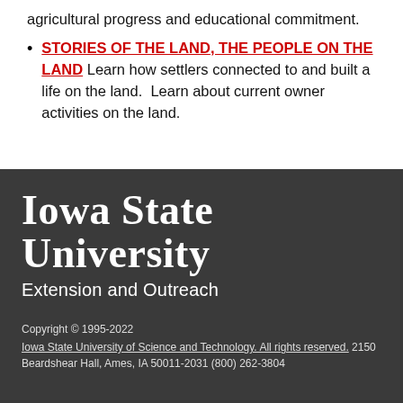agricultural progress and educational commitment.
STORIES OF THE LAND, THE PEOPLE ON THE LAND Learn how settlers connected to and built a life on the land.  Learn about current owner activities on the land.
[Figure (logo): Iowa State University Extension and Outreach logo in white text on dark gray background]
Copyright © 1995-2022 Iowa State University of Science and Technology. All rights reserved. 2150 Beardshear Hall, Ames, IA 50011-2031 (800) 262-3804